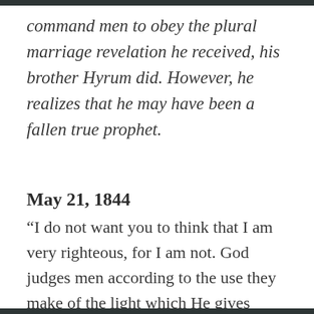command men to obey the plural marriage revelation he received, his brother Hyrum did. However, he realizes that he may have been a fallen true prophet.
May 21, 1844
“I do not want you to think that I am very righteous, for I am not. God judges men according to the use they make of the light which He gives them.”